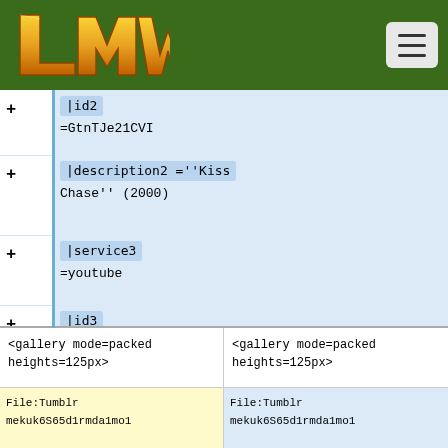[Figure (logo): LMW logo in gold/yellow stylized text on dark green header bar]
+  |id2 =GtnTJe21CVI
+ |description2 =''Kiss Chase'' (2000)
+ |service3 =youtube
+ |id3 =zb40aZ7UJyo
+ |description3 =The ad for Cadbury Land's ''Shush'' (2000).
+}}
<gallery mode=packed heights=125px>
<gallery mode=packed heights=125px>
File:Tumblr mekuk6S65d1rmda1mo1
File:Tumblr mekuk6S65d1rmda1mo1